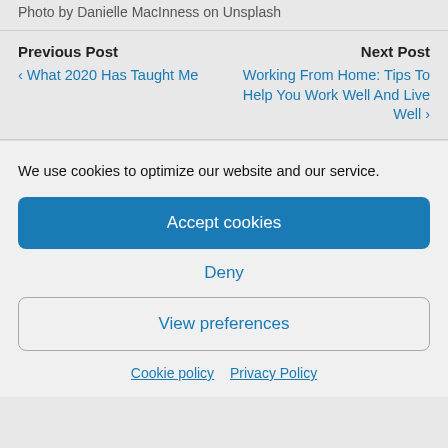Photo by Danielle MacInness on Unsplash
Previous Post
‹ What 2020 Has Taught Me
Next Post
Working From Home: Tips To Help You Work Well And Live Well ›
We use cookies to optimize our website and our service.
Accept cookies
Deny
View preferences
Cookie policy   Privacy Policy